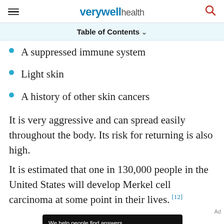verywell health
Table of Contents
A suppressed immune system
Light skin
A history of other skin cancers
It is very aggressive and can spread easily throughout the body. Its risk for returning is also high.
It is estimated that one in 130,000 people in the United States will develop Merkel cell carcinoma at some point in their lives.[12]
[Figure (other): Dotdash Meredith advertisement banner: 'We help people find answers, solve problems and get inspired.']